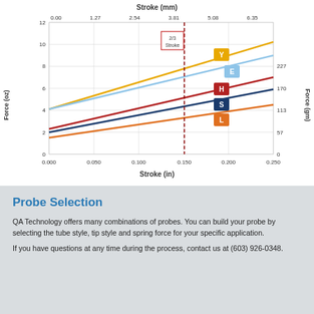[Figure (continuous-plot): Line chart showing Force (oz) and Force (gm) vs Stroke (in) and Stroke (mm) for spring types Y, E, H, S, L. Five linear lines plotted from origin area to upper right. A dashed vertical line marks 2/3 Stroke at approximately 0.165 in. Y (yellow) is steepest, E (blue), H (red), S (dark blue), L (orange) are progressively less steep. Right y-axis shows Force in gm (0, 57, 113, 170, 227). Left y-axis shows Force in oz (0-12). Top x-axis shows Stroke in mm (0.00 to 6.35). Bottom x-axis shows Stroke in in (0.000 to 0.250).]
Probe Selection
QA Technology offers many combinations of probes. You can build your probe by selecting the tube style, tip style and spring force for your specific application.
If you have questions at any time during the process, contact us at (603) 926-0348.